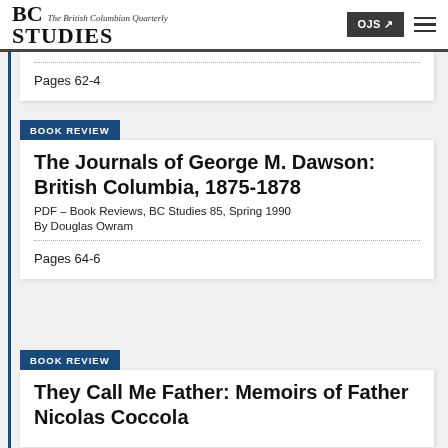BC STUDIES — The British Columbian Quarterly
Pages 62-4
BOOK REVIEW
The Journals of George M. Dawson: British Columbia, 1875-1878
PDF – Book Reviews, BC Studies 85, Spring 1990
By Douglas Owram
Pages 64-6
BOOK REVIEW
They Call Me Father: Memoirs of Father Nicolas Coccola